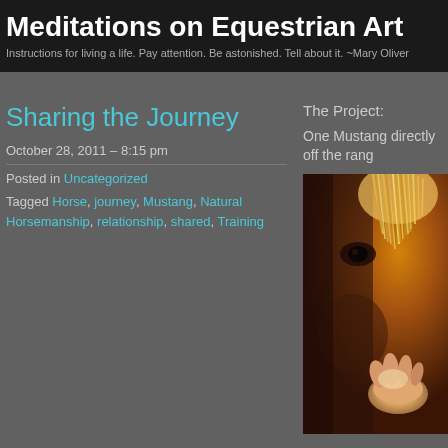Meditations on Equestrian Art
Instructions for living a life. Pay attention. Be astonished. Tell about it. ~Mary Oliver
Sharing the Journey
October 28, 2011 – 8:15 pm
Posted in Uncategorized
Tagged Horse, journey, Mustang, Natural Horsemanship, relationship, shared, Training
The Project:
One Mustang directly off the rang
[Figure (photo): Close-up photo of a horse's eye and mane with backlit fur, and a human hand touching the horse's face]